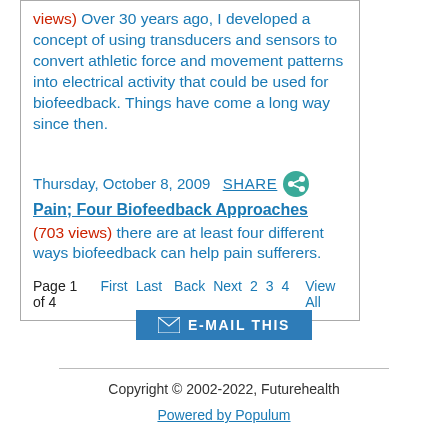views) Over 30 years ago, I developed a concept of using transducers and sensors to convert athletic force and movement patterns into electrical activity that could be used for biofeedback. Things have come a long way since then.
Thursday, October 8, 2009  SHARE  Pain; Four Biofeedback Approaches  (703 views) there are at least four different ways biofeedback can help pain sufferers.
Page 1 of 4  First  Last  Back  Next  2  3  4  View All
[Figure (other): E-MAIL THIS button with envelope icon]
Copyright © 2002-2022, Futurehealth
Powered by Populum